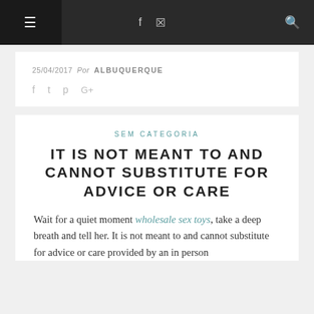≡  f  [instagram]  Q
25/04/2017  Por ALBUQUERQUE
f  [twitter]  [pinterest]  G+
SEM CATEGORIA
IT IS NOT MEANT TO AND CANNOT SUBSTITUTE FOR ADVICE OR CARE
Wait for a quiet moment wholesale sex toys, take a deep breath and tell her. It is not meant to and cannot substitute for advice or care provided by an in person